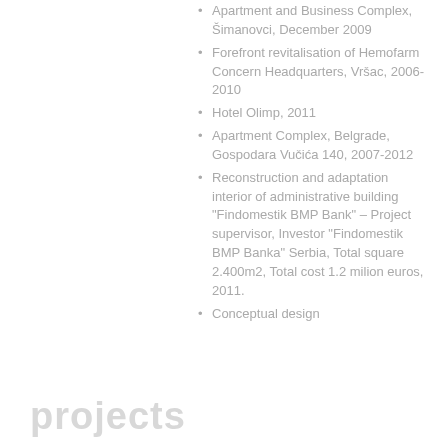Apartment and Business Complex, Šimanovci, December 2009
Forefront revitalisation of Hemofarm Concern Headquarters, Vršac, 2006-2010
Hotel Olimp, 2011
Apartment Complex, Belgrade, Gospodara Vučića 140, 2007-2012
Reconstruction and adaptation interior of administrative building "Findomestik BMP Bank" – Project supervisor, Investor "Findomestik BMP Banka" Serbia, Total square 2.400m2, Total cost 1.2 milion euros, 2011.
Conceptual design…
projects